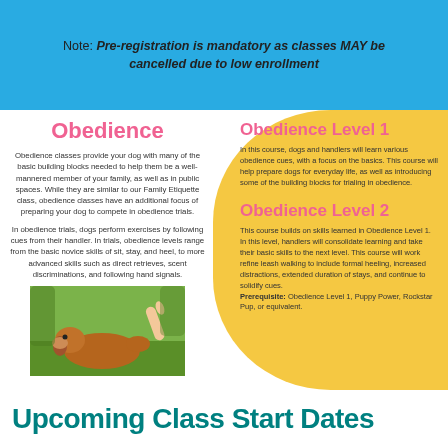Note: Pre-registration is mandatory as classes MAY be cancelled due to low enrollment
Obedience
Obedience classes provide your dog with many of the basic building blocks needed to help them be a well-mannered member of your family, as well as in public spaces. While they are similar to our Family Etiquette class, obedience classes have an additional focus of preparing your dog to compete in obedience trials.
In obedience trials, dogs perform exercises by following cues from their handler. In trials, obedience levels range from the basic novice skills of sit, stay, and heel, to more advanced skills such as direct retrieves, scent discriminations, and following hand signals.
[Figure (photo): A brown dog lying on grass with a human hand reaching toward it]
Obedience Level 1
In this course, dogs and handlers will learn various obedience cues, with a focus on the basics. This course will help prepare dogs for everyday life, as well as introducing some of the building blocks for trialing in obedience.
Obedience Level 2
This course builds on skills learned in Obedience Level 1. In this level, handlers will consolidate learning and take their basic skills to the next level. This course will work refine leash walking to include formal heeling, increased distractions, extended duration of stays, and continue to solidify cues. Prerequisite: Obedience Level 1, Puppy Power, Rockstar Pup, or equivalent.
Upcoming Class Start Dates